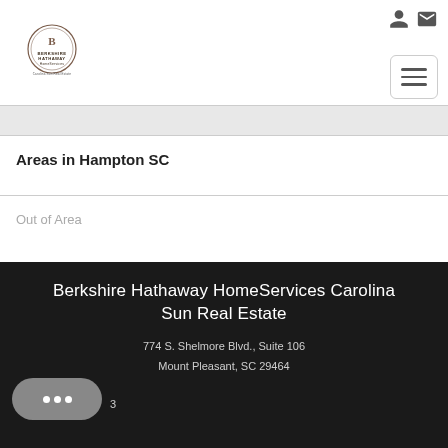[Figure (logo): Berkshire Hathaway HomeServices Carolina Sun Real Estate logo]
Areas in Hampton SC
Out of Area
Berkshire Hathaway HomeServices Carolina Sun Real Estate
774 S. Shelmore Blvd., Suite 106
Mount Pleasant, SC 29464